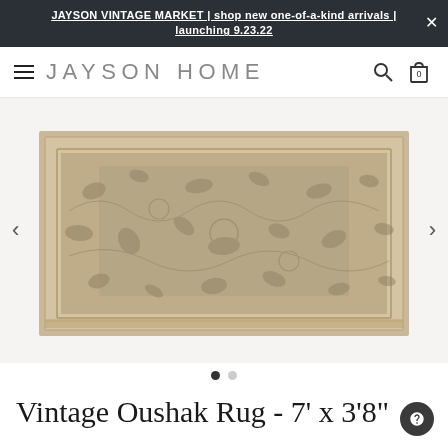JAYSON VINTAGE MARKET | shop new one-of-a-kind arrivals | launching 9.23.22
JAYSON HOME
[Figure (photo): Vintage Oushak rug displayed flat, roughly rectangular with beige/tan tones and faded floral/botanical pattern, with a border. Shown with carousel navigation arrows on left and right.]
Vintage Oushak Rug - 7' x 3'8"